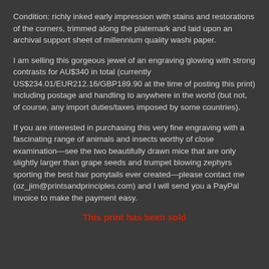Condition: richly inked early impression with stains and restorations of the corners, trimmed along the platemark and laid upon an archival support sheet of millennium quality washi paper.
I am selling this gorgeous jewel of an engraving glowing with strong contrasts for AU$340 in total (currently US$234.01/EUR212.16/GBP189.90 at the time of posting this print) including postage and handling to anywhere in the world (but not, of course, any import duties/taxes imposed by some countries).
If you are interested in purchasing this very fine engraving with a fascinating range of animals and insects worthy of close examination—see the two beautifully drawn mice that are only slightly larger than grape seeds and trumpet blowing zephyrs sporting the best hair ponytails ever created—please contact me (oz_jim@printsandprinciples.com) and I will send you a PayPal invoice to make the payment easy.
This print has been sold